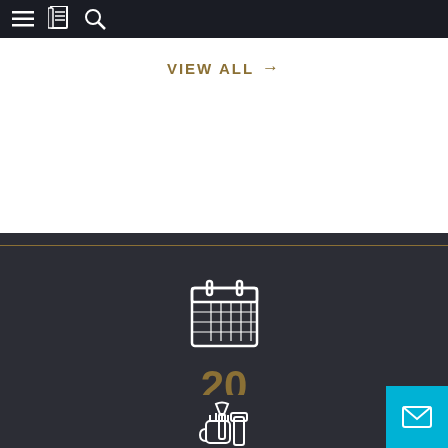Navigation bar with menu, bookmark, and search icons
VIEW ALL →
[Figure (illustration): Calendar icon (white outline on dark background)]
20
Years Of Experience
[Figure (illustration): Wrench and tools icon (white outline on dark background)]
100